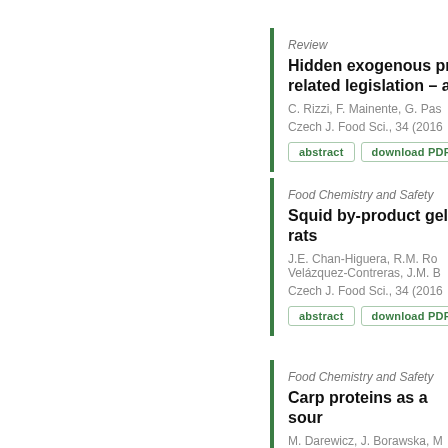Review
Hidden exogenous proteins related legislation – a r
C. Rizzi, F. Mainente, G. Pas
Czech J. Food Sci., 34 (2016
Food Chemistry and Safety
Squid by-product gelat rats
J.E. Chan-Higuera, R.M. Ro Velázquez-Contreras, J.M. B
Czech J. Food Sci., 34 (2016
Food Chemistry and Safety
Carp proteins as a sour
M. Darewicz, J. Borawska, M